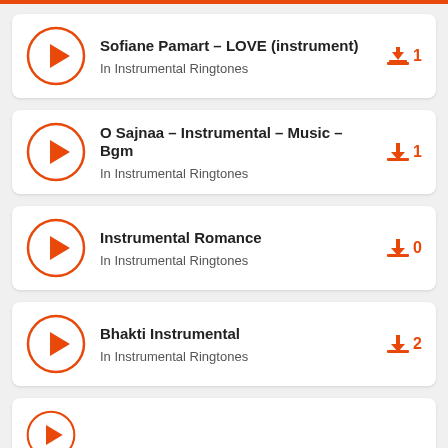Sofiane Pamart – LOVE (instrument) | In Instrumental Ringtones | Downloads: 1
O Sajnaa – Instrumental – Music – Bgm | In Instrumental Ringtones | Downloads: 1
Instrumental Romance | In Instrumental Ringtones | Downloads: 0
Bhakti Instrumental | In Instrumental Ringtones | Downloads: 2
[Figure (screenshot): Partial view of a fifth ringtone list item, cut off at the bottom of the page]